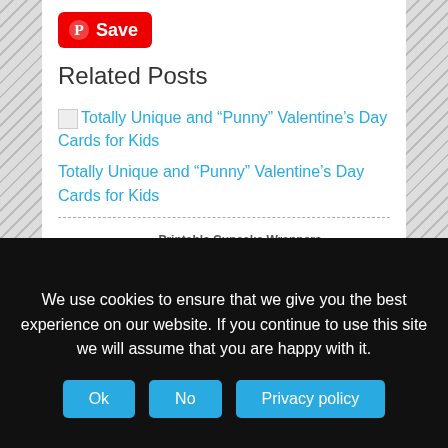[Figure (logo): Pinterest Save button - red rounded rectangle with Pinterest circle P icon and text 'Save']
Related Posts
Totally Unique and “Punny” Valentine’s Day Cards for Kids (with broken image icon)
Totally Unique and “Punny” Valentine’s Day Cards for Kids
[Figure (illustration): Printable cupcake wrappers - two curved banner-shaped wrappers with yellow pastel heart pattern on white background, watermark 'PrintableTreats.com']
Free Pastel Light Yellow Heart Pattern Cupcake
We use cookies to ensure that we give you the best experience on our website. If you continue to use this site we will assume that you are happy with it.